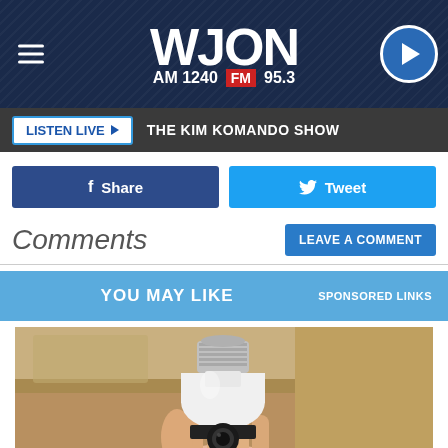WJON AM 1240 FM 95.3
LISTEN LIVE ▶  THE KIM KOMANDO SHOW
f Share  🐦 Tweet
Comments
LEAVE A COMMENT
YOU MAY LIKE   SPONSORED LINKS
[Figure (photo): A hand holding a white smart light bulb with a camera built into the base, held up against a wooden shelf background]